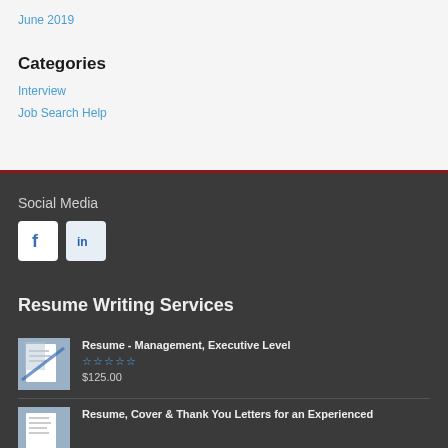June 2019
Categories
Interview
Job Search Help
Social Media
[Figure (infographic): Facebook and LinkedIn social media icon buttons]
Resume Writing Services
[Figure (photo): Thumbnail image of a resume document]
Resume - Management, Executive Level
$125.00
[Figure (photo): Thumbnail image of a resume/letter document]
Resume, Cover & Thank You Letters for an Experienced